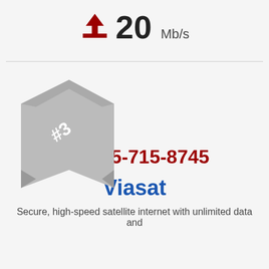20 Mb/s upload speed
[Figure (illustration): #3 ranking badge ribbon in gray]
1-855-715-8745
Viasat
Secure, high-speed satellite internet with unlimited data and